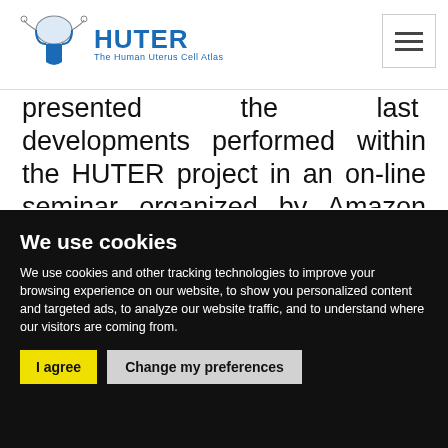HUTER - The Human Uterus Cell Atlas
presented the last developments performed within the HUTER project in an on-line seminar organized by Amazon Web Services (AWS). The on-line seminar focused on researchers working
We use cookies
We use cookies and other tracking technologies to improve your browsing experience on our website, to show you personalized content and targeted ads, to analyze our website traffic, and to understand where our visitors are coming from.
I agree | Change my preferences